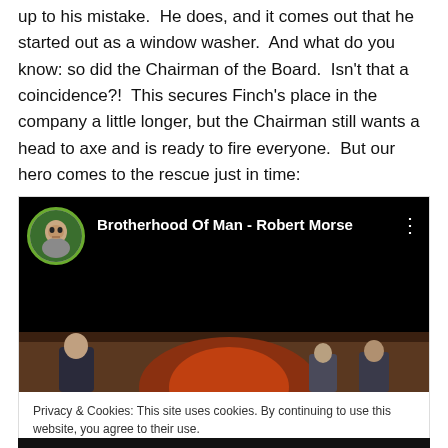up to his mistake.  He does, and it comes out that he started out as a window washer.  And what do you know: so did the Chairman of the Board.  Isn't that a coincidence?!  This secures Finch's place in the company a little longer, but the Chairman still wants a head to axe and is ready to fire everyone.  But our hero comes to the rescue just in time:
[Figure (screenshot): Embedded YouTube video thumbnail for 'Brotherhood Of Man - Robert Morse' with a cookie consent notice overlay reading: Privacy & Cookies: This site uses cookies. By continuing to use this website, you agree to their use. To find out more, including how to control cookies, see here: Cookie Policy. A 'Close and accept' button appears at the bottom right.]